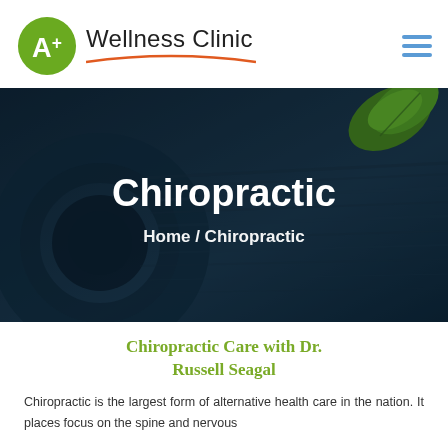A+ Wellness Clinic
[Figure (screenshot): Hero banner with dark teal/navy background showing a compass-like object with a green leaf in top right corner. White bold text reads 'Chiropractic' with breadcrumb 'Home / Chiropractic' below.]
Chiropractic
Home / Chiropractic
Chiropractic Care with Dr. Russell Seagal
Chiropractic is the largest form of alternative health care in the nation. It places focus on the spine and nervous